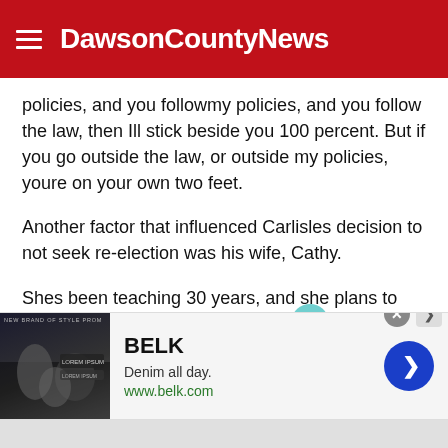DawsonCountyNews
policies, and you followmy policies, and you follow the law, then Ill stick beside you 100 percent. But if you go outside the law, or outside my policies, youre on your own two feet.
Another factor that influenced Carlisles decision to not seek re-election was his wife, Cathy.
Shes been teaching 30 years, and she plans to retire in 2016, he said. Whatever we decide to do after retirement, we plan to do it together, and Im really look forward to that.
[Figure (screenshot): BELK advertisement banner: Denim all day. www.belk.com with blue arrow button and photo of people.]